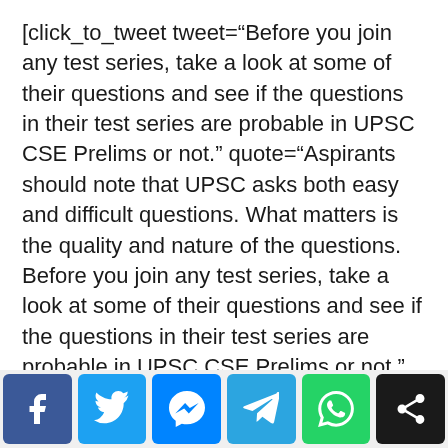[click_to_tweet tweet="Before you join any test series, take a look at some of their questions and see if the questions in their test series are probable in UPSC CSE Prelims or not." quote="Aspirants should note that UPSC asks both easy and difficult questions. What matters is the quality and nature of the questions. Before you join any test series, take a look at some of their questions and see if the questions in their test series are probable in UPSC CSE Prelims or not." theme="style2"]
Note: ClearIAS has provided free exams for self-
[Figure (other): Social media sharing buttons: Facebook, Twitter, Messenger, Telegram, WhatsApp, Share]